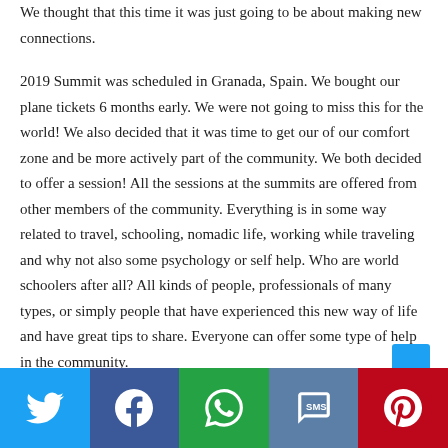We thought that this time it was just going to be about making new connections.
2019 Summit was scheduled in Granada, Spain. We bought our plane tickets 6 months early. We were not going to miss this for the world! We also decided that it was time to get our of our comfort zone and be more actively part of the community. We both decided to offer a session! All the sessions at the summits are offered from other members of the community. Everything is in some way related to travel, schooling, nomadic life, working while traveling and why not also some psychology or self help. Who are world schoolers after all? All kinds of people, professionals of many types, or simply people that have experienced this new way of life and have great tips to share. Everyone can offer some type of help in the community.
[Figure (infographic): Social share bar with Twitter, Facebook, WhatsApp, SMS, and Pinterest buttons]